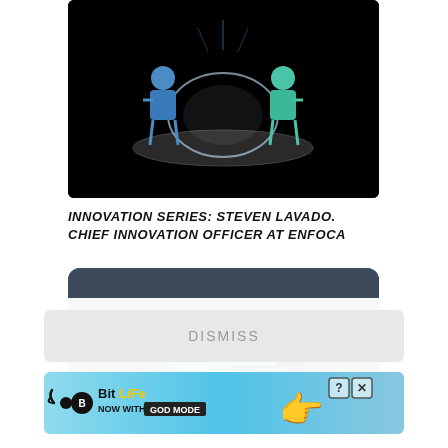[Figure (illustration): Two people sitting in chairs facing each other in a dark room with a glowing table/surface between them, stylized illustration on black background]
INNOVATION SERIES: STEVEN LAVADO. CHIEF INNOVATION OFFICER AT ENFOCA
[Figure (illustration): 3D isometric illustration of tech/digital marketing elements including a laptop, megaphone, person avatar, charts, and icons on a dark blue-grey background]
DISMISS
[Figure (illustration): BitLife advertisement banner - NOW WITH GOD MODE with a hand pointing finger graphic on light blue background]